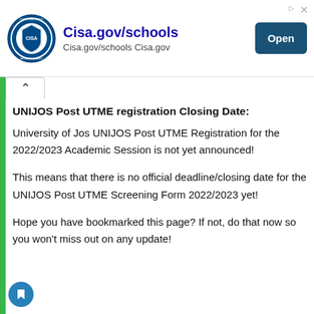[Figure (logo): CISA (Cybersecurity and Infrastructure Security Agency) circular logo with blue shield and eagle emblem]
Cisa.gov/schools
Cisa.gov/schools Cisa.gov
Open
UNIJOS Post UTME registration Closing Date:
University of Jos UNIJOS Post UTME Registration for the 2022/2023 Academic Session is not yet announced!
This means that there is no official deadline/closing date for the UNIJOS Post UTME Screening Form 2022/2023 yet!
Hope you have bookmarked this page? If not, do that now so you won't miss out on any update!